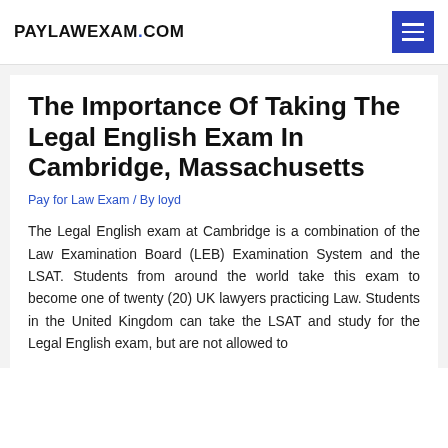PAYLAWEXAM.COM
The Importance Of Taking The Legal English Exam In Cambridge, Massachusetts
Pay for Law Exam / By loyd
The Legal English exam at Cambridge is a combination of the Law Examination Board (LEB) Examination System and the LSAT. Students from around the world take this exam to become one of twenty (20) UK lawyers practicing Law. Students in the United Kingdom can take the LSAT and study for the Legal English exam, but are not allowed to